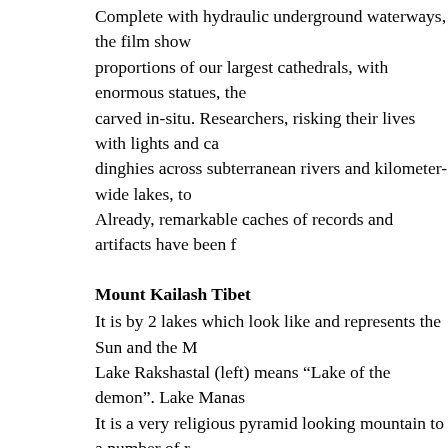Complete with hydraulic underground waterways, the film shows proportions of our largest cathedrals, with enormous statues, the carved in-situ. Researchers, risking their lives with lights and cameras, dinghies across subterranean rivers and kilometer-wide lakes, to Already, remarkable caches of records and artifacts have been f
Mount Kailash Tibet
It is by 2 lakes which look like and represents the Sun and the M Lake Rakshastal (left) means “Lake of the demon”. Lake Manas It is a very religious pyramid looking mountain to a number of r there each year. It is one of only a handful of mountains in the W and it is very difficult to get to. There is a certain secret society importance. It is rumoured that when the ice finally melts it will is worth a LOT of research!
The WWII German expedition to Tibet
It uncovered something huge that Hitler took VERY seriously. I of you know about hollow earth but it is far bigger than that one